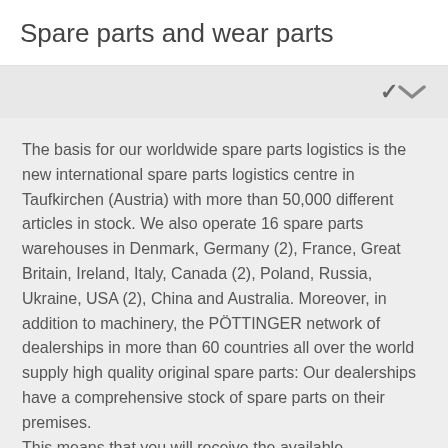Spare parts and wear parts
The basis for our worldwide spare parts logistics is the new international spare parts logistics centre in Taufkirchen (Austria) with more than 50,000 different articles in stock. We also operate 16 spare parts warehouses in Denmark, Germany (2), France, Great Britain, Ireland, Italy, Canada (2), Poland, Russia, Ukraine, USA (2), China and Australia. Moreover, in addition to machinery, the PÖTTINGER network of dealerships in more than 60 countries all over the world supply high quality original spare parts: Our dealerships have a comprehensive stock of spare parts on their premises. This means that you will receive the available